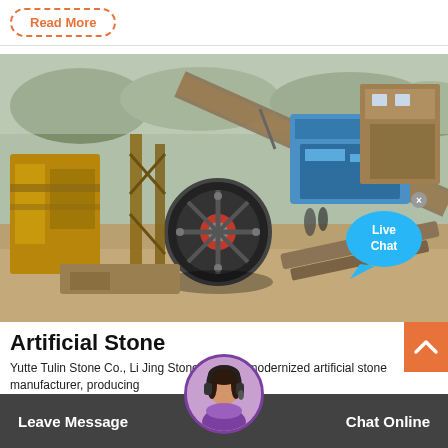Read More
[Figure (photo): Aerial/overhead view of a large industrial stone crushing and processing plant with heavy machinery, conveyor belts, a large flywheel, yellow and rusted metal structures, and a blue crushing unit, set on a sandy/earthen site with trees in background. A 'Live Chat' speech bubble overlay is visible in the upper right.]
Artificial Stone
Yutte Tulin Stone Co., Li Jing Stone Ltd, is a modernized artificial stone manufacturer, producing
Leave Message
Chat Online